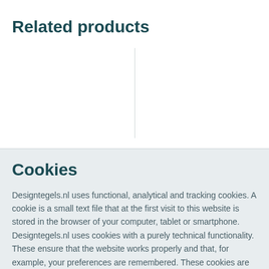Related products
Cookies
Designtegels.nl uses functional, analytical and tracking cookies. A cookie is a small text file that at the first visit to this website is stored in the browser of your computer, tablet or smartphone. Designtegels.nl uses cookies with a purely technical functionality. These ensure that the website works properly and that, for example, your preferences are remembered. These cookies are also used to make the website work properly and to optimize it. In addition, we place cookies that track your surfing behaviour so that we can offer you tailor-made content and advertisements. When you first visited our website, we informed you